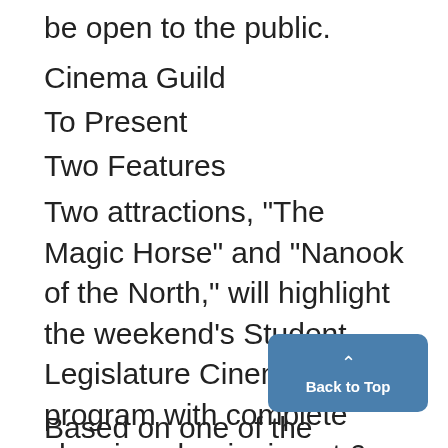be open to the public.
Cinema Guild
To Present
Two Features
Two attractions, "The Magic Horse" and "Nanook of the North," will highlight the weekend's Student Legislature Cinema Guild program with complete showings beginning at 6, 7, and 9 p.m. today and tomorrow and at 8 p.m. Sunday at the Architecture Auditorium.
Based on one of the favorite